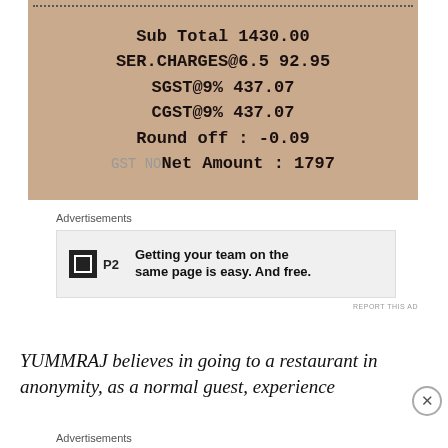[Figure (photo): Photo of a restaurant receipt showing Sub Total 1430.00, SER.CHARGES@6.5 92.95, SGST@9% 437.07, CGST@9% 437.07, Round off: -0.09, GST NO overlapping with Net Amount: 1797]
Advertisements
[Figure (infographic): Advertisement for P2 service: 'Getting your team on the same page is easy. And free.']
REPORT THIS AD
YUMMRAJ believes in going to a restaurant in anonymity, as a normal guest, experience
Advertisements